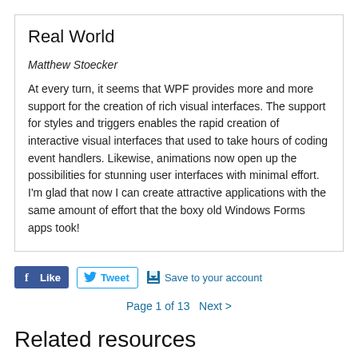Real World
Matthew Stoecker
At every turn, it seems that WPF provides more and more support for the creation of rich visual interfaces. The support for styles and triggers enables the rapid creation of interactive visual interfaces that used to take hours of coding event handlers. Likewise, animations now open up the possibilities for stunning user interfaces with minimal effort. I'm glad that now I can create attractive applications with the same amount of effort that the boxy old Windows Forms apps took!
[Figure (infographic): Social sharing buttons: Facebook Like, Twitter Tweet, and Save to your account]
Page 1 of 13   Next >
Related resources
Titles   Chapters